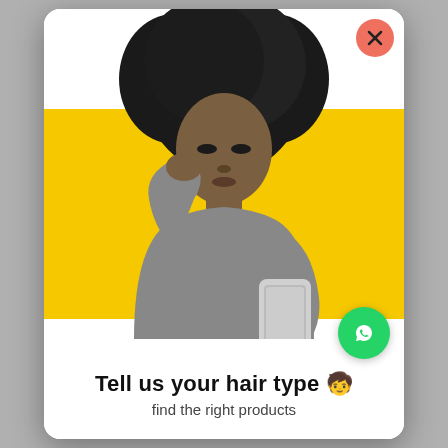[Figure (photo): A black and white photo of a young woman with a large afro hairstyle, wearing a grey sweater, holding a smartphone and looking at it thoughtfully with her hand near her chin. The background behind her torso is bright yellow.]
Tell us your hair type 🧒 find the right products